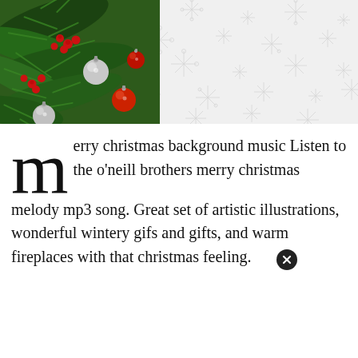[Figure (illustration): Christmas wreath corner decoration with pine branches, red berries, silver and red ornament balls on the left side, with a white background covered in light gray snowflake patterns on the right.]
merry christmas background music Listen to the o&#039;neill brothers merry christmas melody mp3 song. Great set of artistic illustrations, wonderful wintery gifs and gifts, and warm fireplaces with that christmas feeling.